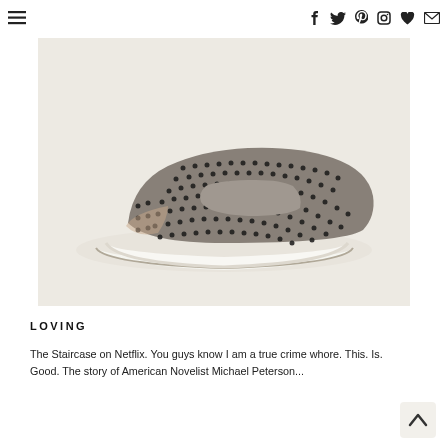☰  [social icons: facebook, twitter, pinterest, instagram, heart, mail]
[Figure (photo): A grey perforated mesh slip-on sneaker mule with white rubber sole, photographed on a light beige background.]
LOVING
The Staircase on Netflix. You guys know I am a true crime whore. This. Is. Good. The story of American Novelist Michael Peterson...